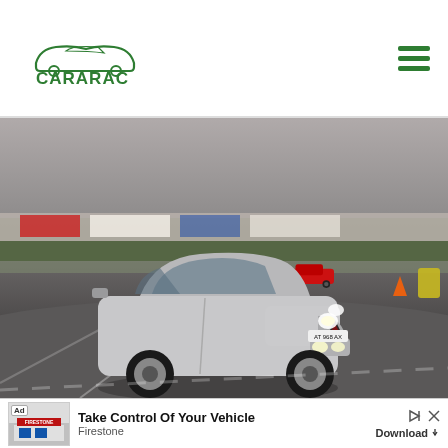[Figure (logo): CARARAC logo with car silhouette outline in green and green text]
[Figure (photo): Silver Alfa Romeo 156 sedan driving on a race track circuit, red car visible in background, motion blur on background]
Ad  Take Control Of Your Vehicle  Firestone  Download